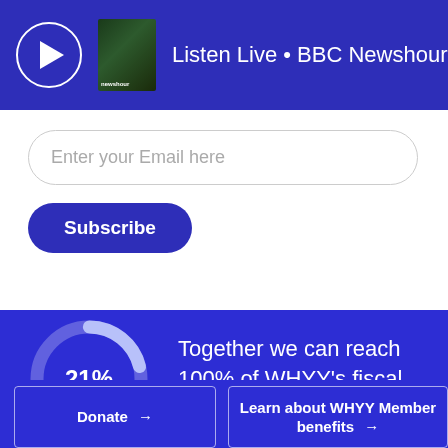Listen Live • BBC Newshour
Enter your Email here
Subscribe
[Figure (donut-chart): WHYY fiscal year goal]
Together we can reach 100% of WHYY's fiscal year goal
Donate →
Learn about WHYY Member benefits →